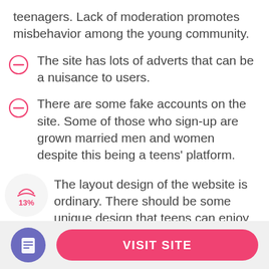teenagers. Lack of moderation promotes misbehavior among the young community.
The site has lots of adverts that can be a nuisance to users.
There are some fake accounts on the site. Some of those who sign-up are grown married men and women despite this being a teens' platform.
The layout design of the website is ordinary. There should be some unique design that teens can enjoy to promote the attractiveness of the website.
[Figure (other): Blue circle icon with document/lines symbol representing a note or review icon]
VISIT SITE